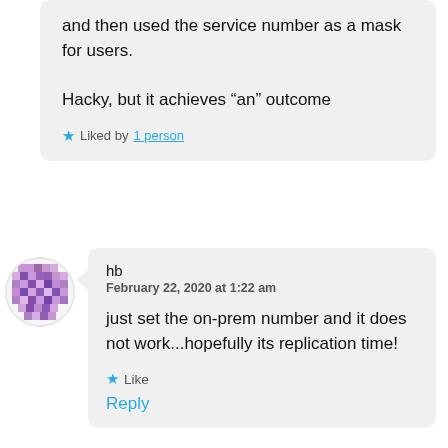and then used the service number as a mask for users.

Hacky, but it achieves “an” outcome
Liked by 1 person
hb
February 22, 2020 at 1:22 am
just set the on-prem number and it does not work...hopefully its replication time!
Like
Reply